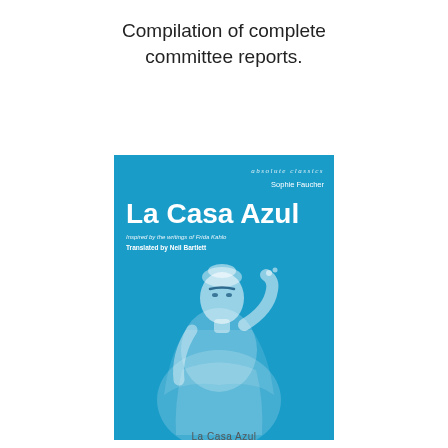Compilation of complete committee reports.
[Figure (illustration): Book cover of 'La Casa Azul' by Sophie Faucher, translated by Neil Bartlett. Blue cover with an image of a woman (Frida Kahlo inspired) in white tones. Series: absolute classics.]
La Casa Azul